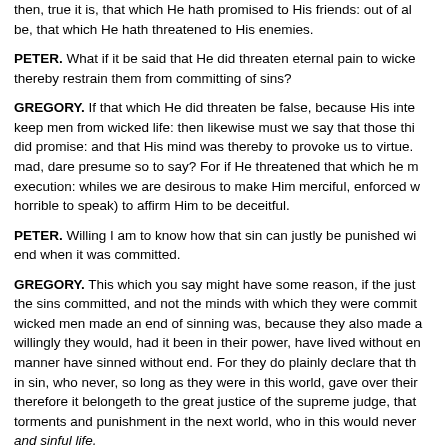then, true it is, that which He hath promised to His friends: out of all be, that which He hath threatened to His enemies.
PETER. What if it be said that He did threaten eternal pain to wicked thereby restrain them from committing of sins?
GREGORY. If that which He did threaten be false, because His inter keep men from wicked life: then likewise must we say that those thi did promise: and that His mind was thereby to provoke us to virtue. mad, dare presume so to say? For if He threatened that which he m execution: whiles we are desirous to make Him merciful, enforced w horrible to speak) to affirm Him to be deceitful.
PETER. Willing I am to know how that sin can justly be punished wi end when it was committed.
GREGORY. This which you say might have some reason, if the just the sins committed, and not the minds with which they were commit wicked men made an end of sinning was, because they also made a willingly they would, had it been in their power, have lived without en manner have sinned without end. For they do plainly declare that th in sin, who never, so long as they were in this world, gave over their therefore it belongeth to the great justice of the supreme judge, that torments and punishment in the next world, who in this would never and sinful life.